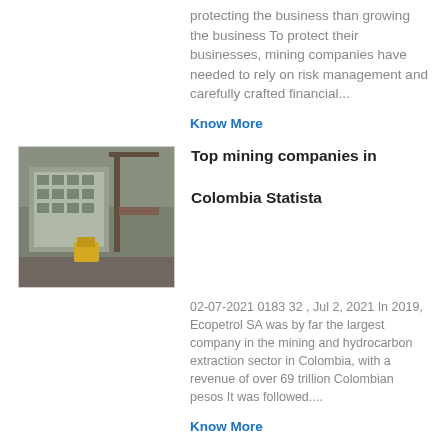protecting the business than growing the business To protect their businesses, mining companies have needed to rely on risk management and carefully crafted financial...
Know More
Top mining companies in Colombia Statista
[Figure (photo): Industrial mining equipment photo]
02-07-2021 0183 32 , Jul 2, 2021 In 2019, Ecopetrol SA was by far the largest company in the mining and hydrocarbon extraction sector in Colombia, with a revenue of over 69 trillion Colombian pesos It was followed....
Know More
Oil Gas Companies in Colombia Oil Field Services
[Figure (photo): Stacked gold/copper bars industrial photo]